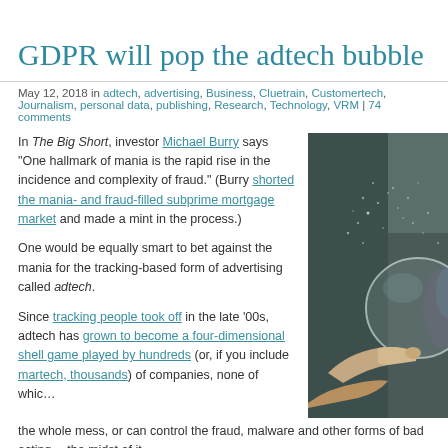GDPR will pop the adtech bubble
May 12, 2018 in adtech, advertising, Business, Cluetrain, Customertech, Journalism, personal data, publishing, Research, Technology, VRM | 74 comments
In The Big Short, investor Michael Burry says "One hallmark of mania is the rapid rise in the incidence and complexity of fraud." (Burry shorted the mania- and fraud-filled subprime mortgage market and made a mint in the process.)
[Figure (photo): A finger popping a soap bubble, photographed in macro. Bubble fragments and droplets spray outward against a blurred dark background.]
One would be equally smart to bet against the mania for the tracking-based form of advertising called adtech.
Since tracking people took off in the late '00s, adtech has grown to become a four-dimensional shell game played by hundreds (or, if you include martech, thousands) of companies, none of which can see the whole mess, or can control the fraud, malware and other forms of bad acting that thrive in the midst of it.